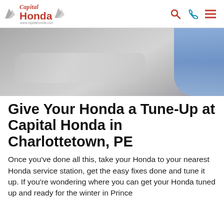Capital Honda — www.capitalhonda.com
[Figure (photo): Close-up photo of a car hood surface (grey/silver) with a person's hand wearing a blue sleeve visible in the upper right corner.]
Give Your Honda a Tune-Up at Capital Honda in Charlottetown, PE
Once you've done all this, take your Honda to your nearest Honda service station, get the easy fixes done and tune it up. If you're wondering where you can get your Honda tuned up and ready for the winter in Prince